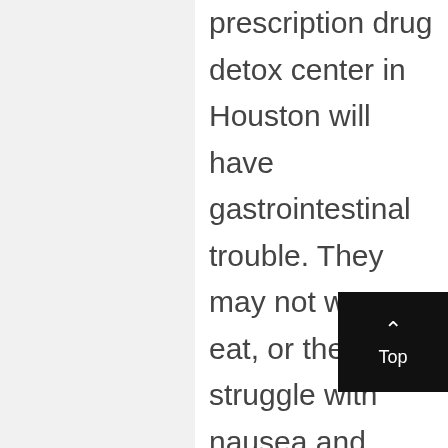prescription drug detox center in Houston will have gastrointestinal trouble. They may not want to eat, or they may struggle with nausea and vomiting. Those who abuse opioid prescription drugs are also very likely to deal with diarrhea or constipation.

Not all detox symptoms are physical. In fact, many patients struggle with psychological or emotional symptoms. Anxiety, depression and even paranoia are possible. Individuals who are treating mental health conditions with prescription drugs may notice these symptoms